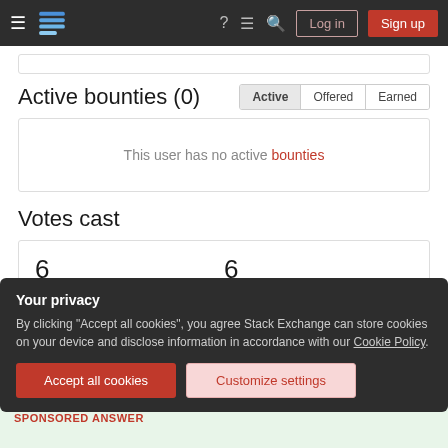Stack Exchange navigation bar with Log in and Sign up buttons
Active bounties (0)
This user has no active bounties
Votes cast
6 upvotes   6 answer votes
Your privacy
By clicking "Accept all cookies", you agree Stack Exchange can store cookies on your device and disclose information in accordance with our Cookie Policy.
Accept all cookies   Customize settings